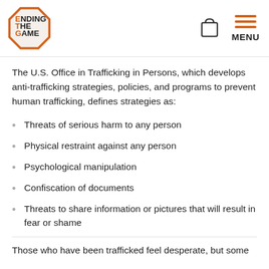Ending The Game logo, bag icon, MENU
The U.S. Office in Trafficking in Persons, which develops anti-trafficking strategies, policies, and programs to prevent human trafficking, defines strategies as:
Threats of serious harm to any person
Physical restraint against any person
Psychological manipulation
Confiscation of documents
Threats to share information or pictures that will result in fear or shame
Those who have been trafficked feel desperate, but some